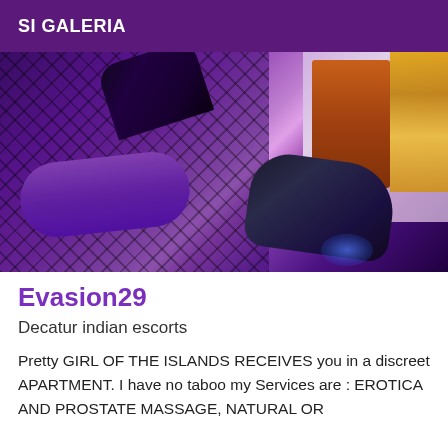SI GALERIA
[Figure (photo): Photo taken from a low angle showing fishnet stockings and high-heeled boots in a room with purple lighting, a wooden door, and warm-toned curtain visible on the right side.]
Evasion29
Decatur indian escorts
Pretty GIRL OF THE ISLANDS RECEIVES you in a discreet APARTMENT. I have no taboo my Services are : EROTICA AND PROSTATE MASSAGE, NATURAL OR